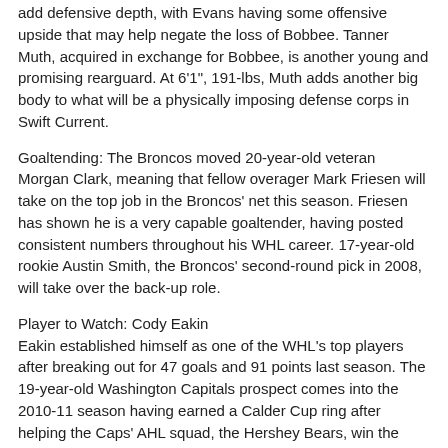add defensive depth, with Evans having some offensive upside that may help negate the loss of Bobbee. Tanner Muth, acquired in exchange for Bobbee, is another young and promising rearguard. At 6'1", 191-lbs, Muth adds another big body to what will be a physically imposing defense corps in Swift Current.
Goaltending: The Broncos moved 20-year-old veteran Morgan Clark, meaning that fellow overager Mark Friesen will take on the top job in the Broncos' net this season. Friesen has shown he is a very capable goaltender, having posted consistent numbers throughout his WHL career. 17-year-old rookie Austin Smith, the Broncos' second-round pick in 2008, will take over the back-up role.
Player to Watch: Cody Eakin
Eakin established himself as one of the WHL's top players after breaking out for 47 goals and 91 points last season. The 19-year-old Washington Capitals prospect comes into the 2010-11 season having earned a Calder Cup ring after helping the Caps' AHL squad, the Hershey Bears, win the League championship in the spring, following Swift Current's elimination from the playoffs. A position player with